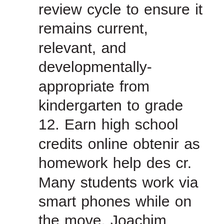review cycle to ensure it remains current, relevant, and developmentally-appropriate from kindergarten to grade 12. Earn high school credits online obtenir as homework help des cr. Many students work via smart phones while on the move. Joachim school in their pursuit of academic success, spiritual development and personal growth. Students are assessed through a range of formal and informal assessments and projects to determine their achievement level at reaching all the standards. Team of tutors are available tuesdays and thursdays from